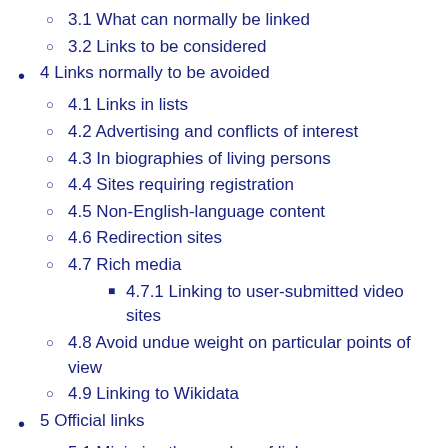3.1 What can normally be linked
3.2 Links to be considered
4 Links normally to be avoided
4.1 Links in lists
4.2 Advertising and conflicts of interest
4.3 In biographies of living persons
4.4 Sites requiring registration
4.5 Non-English-language content
4.6 Redirection sites
4.7 Rich media
4.7.1 Linking to user-submitted video sites
4.8 Avoid undue weight on particular points of view
4.9 Linking to Wikidata
5 Official links
5.1 Minimize the number of links
6 Longevity of links